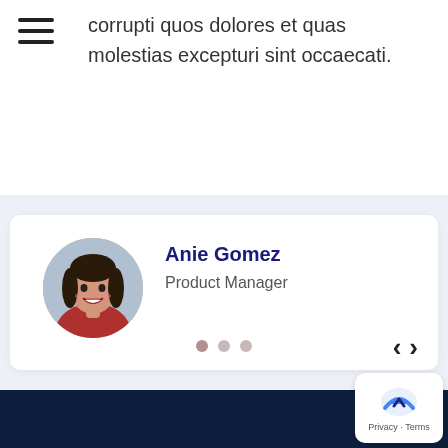corrupti quos dolores et quas molestias excepturi sint occaecati.
[Figure (photo): Circular profile photo of Anie Gomez, a woman with dark hair wearing a red top, smiling]
Anie Gomez
Product Manager
[Figure (other): Carousel navigation: three dots (first filled/active, two outlined) and left/right arrow buttons]
[Figure (other): Back to top button with reCAPTCHA-like logo icon and text 'Privacy · Terms']